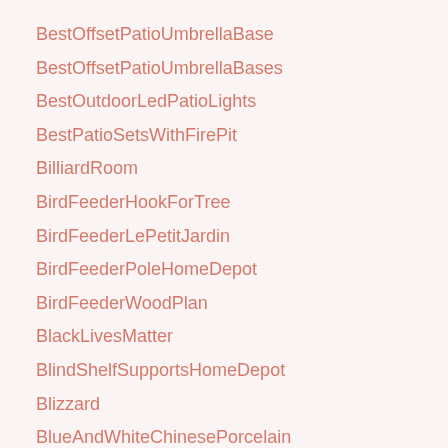BestOffsetPatioUmbrellaBase
BestOffsetPatioUmbrellaBases
BestOutdoorLedPatioLights
BestPatioSetsWithFirePit
BilliardRoom
BirdFeederHookForTree
BirdFeederLePetitJardin
BirdFeederPoleHomeDepot
BirdFeederWoodPlan
BlackLivesMatter
BlindShelfSupportsHomeDepot
Blizzard
BlueAndWhiteChinesePorcelain
Blueberries